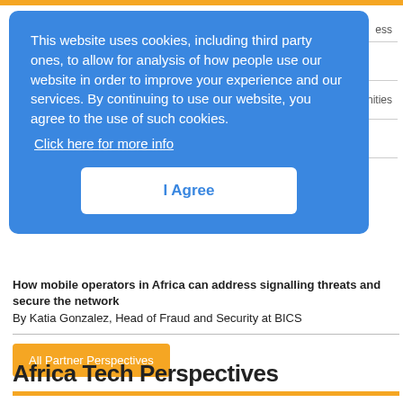This website uses cookies, including third party ones, to allow for analysis of how people use our website in order to improve your experience and our services. By continuing to use our website, you agree to the use of such cookies. Click here for more info
I Agree
How mobile operators in Africa can address signalling threats and secure the network
By Katia Gonzalez, Head of Fraud and Security at BICS
All Partner Perspectives
Africa Tech Perspectives